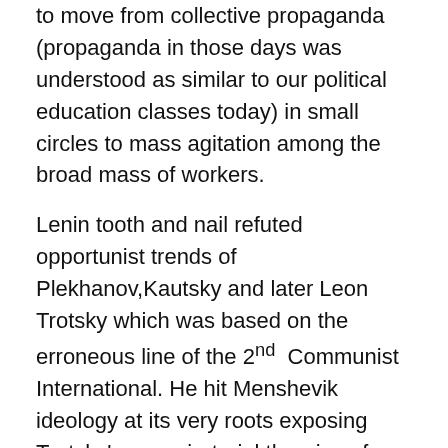to move from collective propaganda (propaganda in those days was understood as similar to our political education classes today) in small circles to mass agitation among the broad mass of workers.
Lenin tooth and nail refuted opportunist trends of Plekhanov,Kautsky and later Leon Trotsky which was based on the erroneous line of the 2nd Communist International. He hit Menshevik ideology at its very roots exposing Trotsky's conspiratorial theories of factions, converting trade Unions into military organizations by attaching armed wings, disregarding anti colonial struggles Lenin at the very base countered left-wing communism…
The right trend within the 2nd Communist